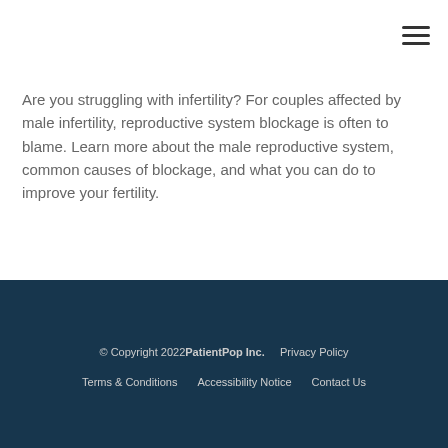Are you struggling with infertility? For couples affected by male infertility, reproductive system blockage is often to blame. Learn more about the male reproductive system, common causes of blockage, and what you can do to improve your fertility.
© Copyright 2022 PatientPop Inc.    Privacy Policy    Terms & Conditions    Accessibility Notice    Contact Us